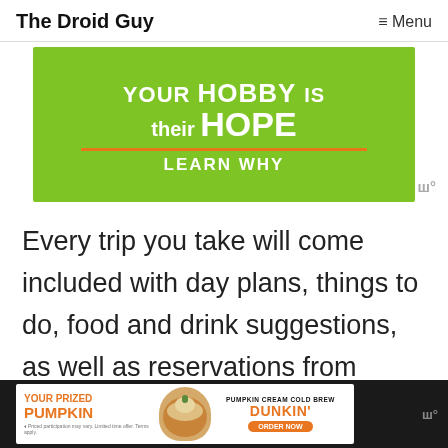The Droid Guy | ≡ Menu
[Figure (advertisement): Green background advertisement showing 'your HOBBY is their HOPE — LEARN WHY' with an orange underline, and a watermark icon at bottom right.]
Every trip you take will come included with day plans, things to do, food and drink suggestions, as well as reservations from Gmail. You can also use Google Trips offline, but it may require a small d...ling h...amely
[Figure (advertisement): Dunkin' Pumpkin Cream Cold Brew advertisement on dark background: 'YOUR PRIZED PUMPKIN' in orange, pumpkin cream drink image, 'PUMPKIN CREAM COLD BREW DUNKIN' ORDER NOW' button.]